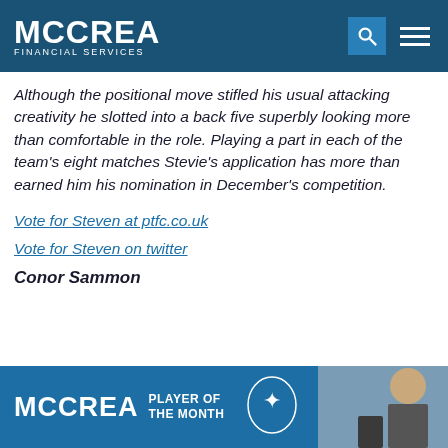MCCREA FINANCIAL SERVICES
Although the positional move stifled his usual attacking creativity he slotted into a back five superbly looking more than comfortable in the role. Playing a part in each of the team's eight matches Stevie's application has more than earned him his nomination in December's competition.
Vote for Steven at ptfc.co.uk
Vote for Steven on twitter
Conor Sammon
[Figure (photo): McCrea Player of the Month banner with logo, thistle emblem, and photo of a player]